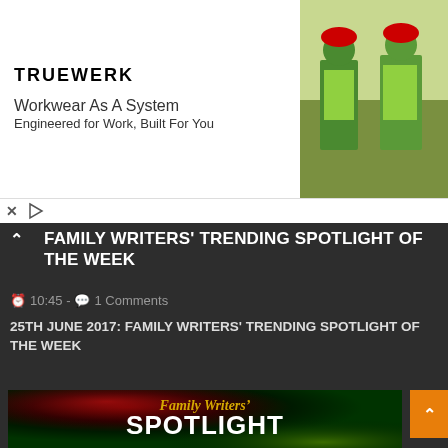[Figure (screenshot): TRUEWERK advertisement banner: logo on left, tagline 'Workwear As A System / Engineered for Work, Built For You' in center, photo of two workers in green high-visibility gear on right]
FAMILY WRITERS' TRENDING SPOTLIGHT OF THE WEEK
10:45 - 💬 1 Comments
25TH JUNE 2017: FAMILY WRITERS' TRENDING SPOTLIGHT OF THE WEEK
[Figure (illustration): Family Writers' Spotlight of the Week graphic: dark background with red and green lighting, 'Family Writers'' in gold italic text, 'SPOTLIGHT' in large white bold text, 'OF THE WEEK' in white text below]